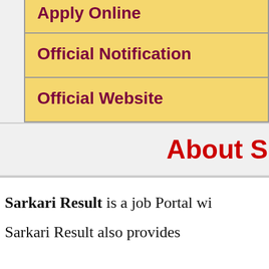| Apply Online |
| Official Notification |
| Official Website |
About S
Sarkari Result is a job Portal wi